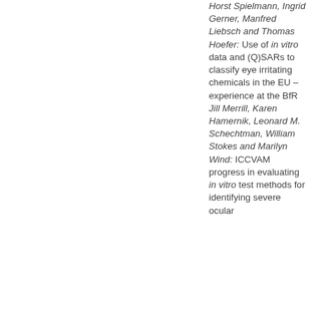Horst Spielmann, Ingrid Gerner, Manfred Liebsch and Thomas Hoefer: Use of in vitro data and (Q)SARs to classify eye irritating chemicals in the EU – experience at the BfR Jill Merrill, Karen Hamernik, Leonard M. Schechtman, William Stokes and Marilyn Wind: ICCVAM progress in evaluating in vitro test methods for identifying severe ocular